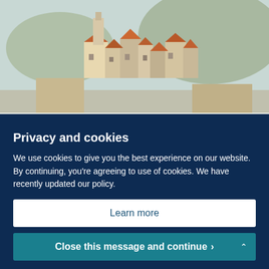[Figure (illustration): Impressionist-style painting of rooftops and buildings in warm earth tones, visible at the top portion of the page.]
Privacy and cookies
We use cookies to give you the best experience on our website. By continuing, you're agreeing to use of cookies. We have recently updated our policy.
Learn more
Close this message and continue >